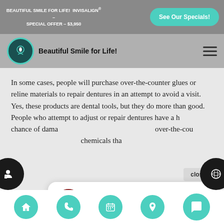BEAUTIFUL SMILE FOR LIFE! INVISALIGN® – SPECIAL OFFER – $3,950
See Our Specials!
Beautiful Smile for Life!
In some cases, people will purchase over-the-counter glues or reline materials to repair dentures in an attempt to avoid a visit. Yes, these products are dental tools, but they do more than good. People who attempt to adjust or repair dentures have a higher chance of damaging the dentures further. These over-the-counter products contain harsh chemicals tha...
close
Hi there, have a question? Text us here.